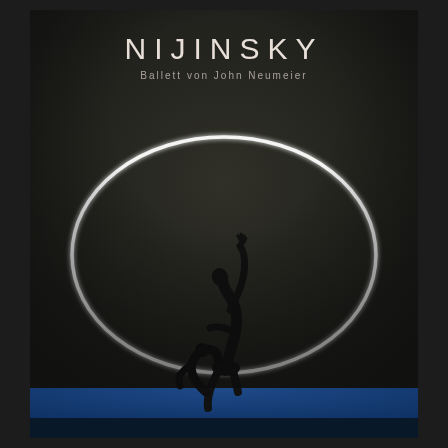[Figure (photo): Stage photograph for Nijinsky ballet by John Neumeier. Dark stage with two performers in black, one arching backward with arm raised, beneath a large illuminated white oval/circle ring prop. Blue stage floor strip at bottom.]
NIJINSKY
Ballett von John Neumeier